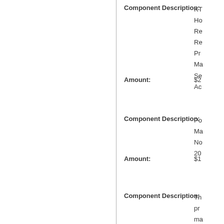Component Description:
KT
Ho
Re
Re
Pr
Ma
Se
Ac
Amount:
$2
Component Description:
Po
Ma
No
20
Amount:
$1
Component Description:
Th
pr
ma